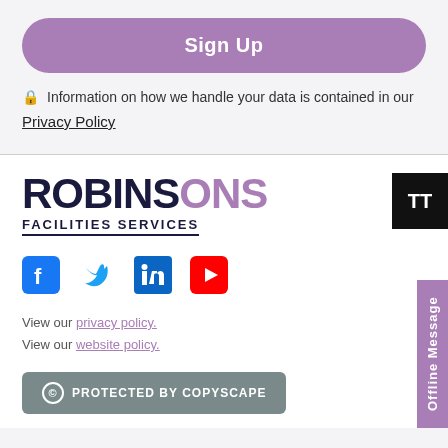Sign Up
🔒 Information on how we handle your data is contained in our Privacy Policy
[Figure (logo): Robinsons Facilities Services logo with purple O and NS letters]
[Figure (infographic): Social media icons: Facebook, Twitter, LinkedIn, YouTube]
View our privacy policy. View our website policy.
[Figure (other): Protected by Copyscape badge]
Offline Message